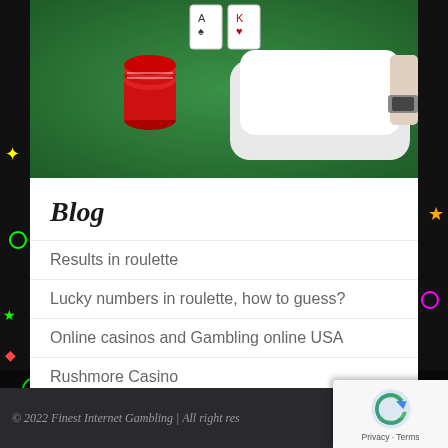[Figure (photo): Casino blackjack table with green felt, red poker chips, and a dealer's hand holding cards]
Blog
Results in roulette
Lucky numbers in roulette, how to guess?
Online casinos and Gambling online USA
Rushmore Casino
Keno Winning Numbers
© 2022 Finest Internet Gambling | All right res